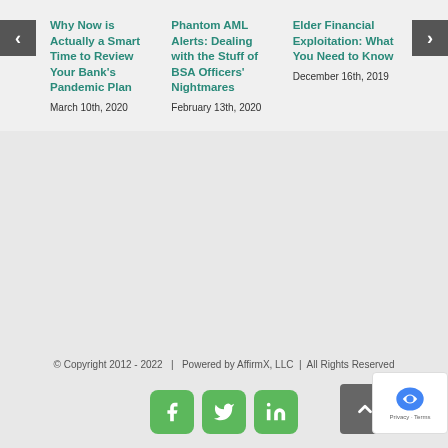Why Now is Actually a Smart Time to Review Your Bank's Pandemic Plan
March 10th, 2020
Phantom AML Alerts: Dealing with the Stuff of BSA Officers' Nightmares
February 13th, 2020
Elder Financial Exploitation: What You Need to Know
December 16th, 2019
© Copyright 2012 - 2022   |   Powered by AffirmX, LLC  |  All Rights Reserved